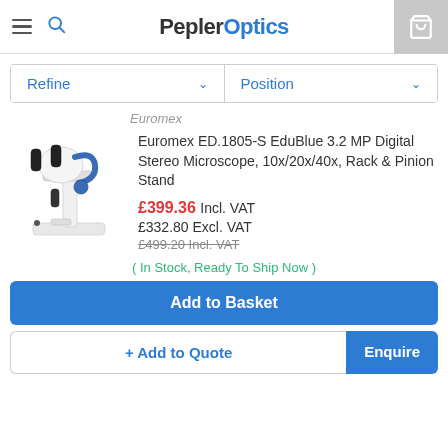PeplerOptics
Refine | Position
Euromex
Euromex ED.1805-S EduBlue 3.2 MP Digital Stereo Microscope, 10x/20x/40x, Rack & Pinion Stand
£399.36 Incl. VAT
£332.80 Excl. VAT
£499.20 Incl. VAT
( In Stock, Ready To Ship Now )
Add to Basket
+ Add to Quote
Enquire